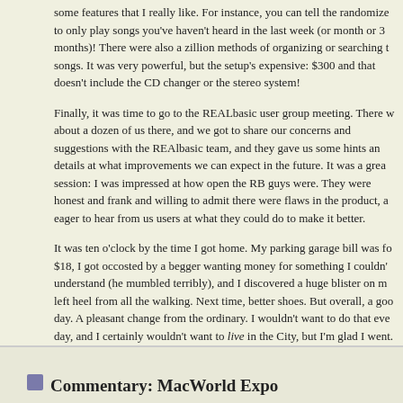some features that I really like. For instance, you can tell the randomizer to only play songs you've haven't heard in the last week (or month or 3 months)! There were also a zillion methods of organizing or searching the songs. It was very powerful, but the setup's expensive: $300 and that doesn't include the CD changer or the stereo system!
Finally, it was time to go to the REALbasic user group meeting. There were about a dozen of us there, and we got to share our concerns and suggestions with the REAlbasic team, and they gave us some hints and details at what improvements we can expect in the future. It was a great session: I was impressed at how open the RB guys were. They were honest and frank and willing to admit there were flaws in the product, and eager to hear from us users at what they could do to make it better.
It was ten o'clock by the time I got home. My parking garage bill was for $18, I got occosted by a begger wanting money for something I couldn't understand (he mumbled terribly), and I discovered a huge blister on my left heel from all the walking. Next time, better shoes. But overall, a good day. A pleasant change from the ordinary. I wouldn't want to do that every day, and I certainly wouldn't want to live in the City, but I'm glad I went. I've put up some pictures of MacWorld Expo, if you're interested.
Topic: [technology]
Commentary: MacWorld Expo